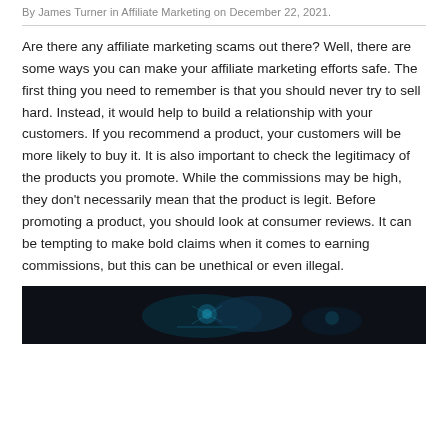By James Turner in Affiliate Marketing on December 22, 2021.
Are there any affiliate marketing scams out there? Well, there are some ways you can make your affiliate marketing efforts safe. The first thing you need to remember is that you should never try to sell hard. Instead, it would help to build a relationship with your customers. If you recommend a product, your customers will be more likely to buy it. It is also important to check the legitimacy of the products you promote. While the commissions may be high, they don't necessarily mean that the product is legit. Before promoting a product, you should look at consumer reviews. It can be tempting to make bold claims when it comes to earning commissions, but this can be unethical or even illegal.
[Figure (photo): Dark-themed image, possibly showing a person or technology scene with blue/teal tones]